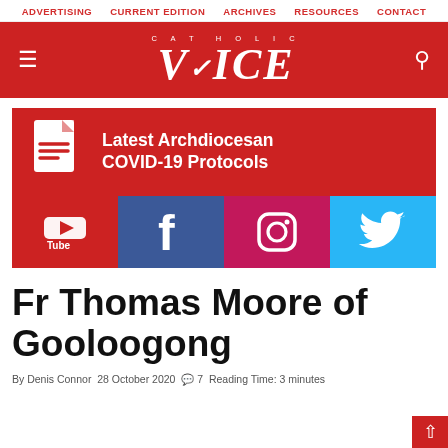ADVERTISING   CURRENT EDITION   ARCHIVES   RESOURCES   CONTACT
[Figure (logo): Catholic Voice logo — red header bar with hamburger menu, CATHOLIC VOICE logo in white italic serif, and search icon]
[Figure (infographic): Red banner: document icon on left, 'Latest Archdiocesan COVID-19 Protocols' text on right. Below: four social media icons — YouTube (red), Facebook (dark blue), Instagram (pink/magenta), Twitter (light blue)]
Fr Thomas Moore of Gooloogong
By Denis Connor  28 October 2020  ☺ 7  Reading Time: 3 minutes